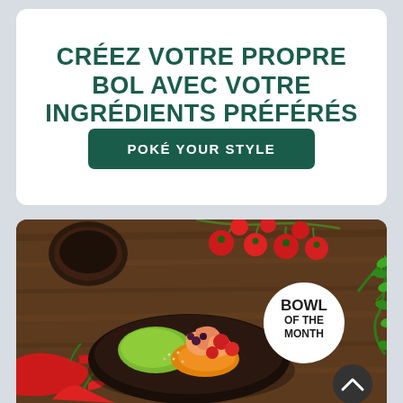CRÉEZ VOTRE PROPRE BOL AVEC VOTRE INGRÉDIENTS PRÉFÉRÉS
POKÉ YOUR STYLE
[Figure (photo): Photo of a colorful poke bowl on a wooden table with cherry tomatoes, red chili peppers, shrimp, avocado, spices, and a dark sauce bowl. A white circular badge reads BOWL OF THE MONTH. A dark scroll-up button is visible at bottom right.]